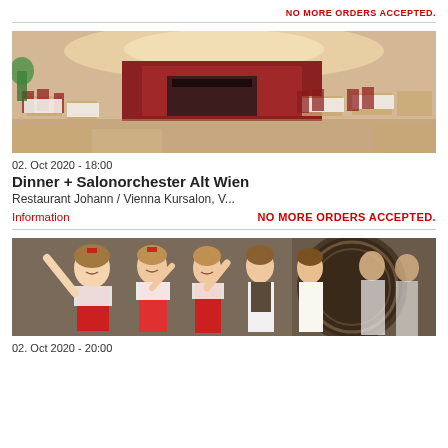NO MORE ORDERS ACCEPTED.
[Figure (photo): Interior of Restaurant Johann / Vienna Kursalon with red decor, white tablecloths, and elegant dining setup]
02. Oct 2020 - 18:00
Dinner + Salonorchester Alt Wien
Restaurant Johann / Vienna Kursalon, V...
Information
NO MORE ORDERS ACCEPTED.
[Figure (photo): Group of performers in traditional Austrian costumes (dirndl and lederhosen) smiling and posing, with decorative backdrop]
02. Oct 2020 - 20:00